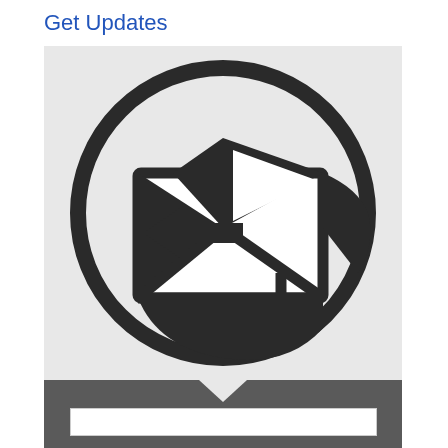Get Updates
[Figure (illustration): Email/newsletter subscription icon: a circular badge containing an envelope with an open flap and a cursor/arrow pointing at it, rendered in dark charcoal on a light grey background.]
[Figure (other): Dark grey bar at the bottom with a downward pointing triangle arrow, and a white input field below it for entering email.]